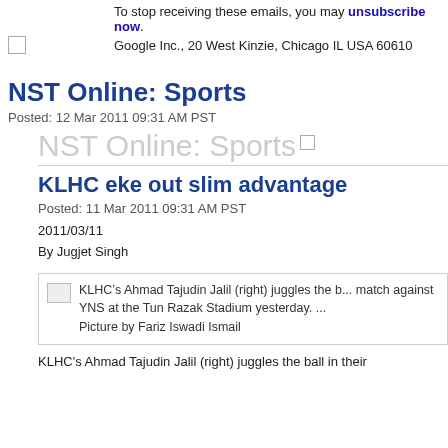To stop receiving these emails, you may unsubscribe now.
Google Inc., 20 West Kinzie, Chicago IL USA 60610
NST Online: Sports
Posted: 12 Mar 2011 09:31 AM PST
[Figure (screenshot): Watermark text: NST Online: Sports with checkbox]
KLHC eke out slim advantage
Posted: 11 Mar 2011 09:31 AM PST
2011/03/11
By Jugjet Singh
[Figure (photo): KLHC's Ahmad Tajudin Jalil (right) juggles the b... match against YNS at the Tun Razak Stadium yesterday. ... Picture by Fariz Iswadi Ismail]
KLHC's Ahmad Tajudin Jalil (right) juggles the ball in their...